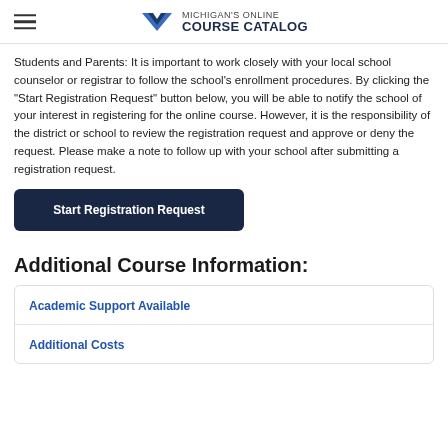Michigan's Online Course Catalog
Students and Parents: It is important to work closely with your local school counselor or registrar to follow the school's enrollment procedures. By clicking the "Start Registration Request" button below, you will be able to notify the school of your interest in registering for the online course. However, it is the responsibility of the district or school to review the registration request and approve or deny the request. Please make a note to follow up with your school after submitting a registration request.
Start Registration Request
Additional Course Information:
Academic Support Available
Additional Costs